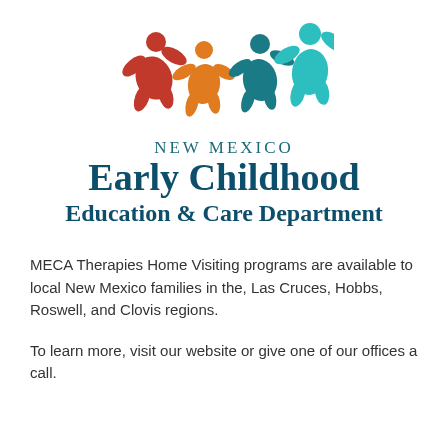[Figure (logo): New Mexico Early Childhood Education & Care Department logo with four colorful child figures (red, orange, teal-dark, teal-light) jumping/dancing above the department name text]
New Mexico Early Childhood Education & Care Department
MECA Therapies Home Visiting programs are available to local New Mexico families in the, Las Cruces, Hobbs, Roswell, and Clovis regions.
To learn more, visit our website or give one of our offices a call.